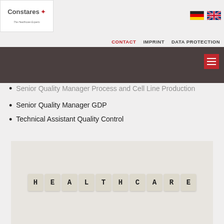Constares The Healthcare Experts — CONTACT | IMPRINT | DATA PROTECTION
Senior Quality Manager Process and Cell Line Production
Senior Quality Manager GDP
Technical Assistant Quality Control
[Figure (photo): Scrabble tiles spelling out HEALTHCARE on a light background]